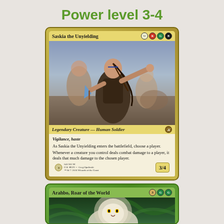Power level 3-4
[Figure (illustration): Magic: The Gathering card - Saskia the Unyielding. Legendary Creature - Human Soldier. Cost: White, Red, Green, Black. Vigilance, haste. As Saskia the Unyielding enters the battlefield, choose a player. Whenever a creature you control deals combat damage to a player, it deals that much damage to the chosen player. Power/Toughness: 3/4. Art shows a warrior woman pointing forward with soldiers behind her.]
[Figure (illustration): Magic: The Gathering card - Arahbo, Roar of the World. Partially visible at bottom. Cost: 3, Green, Green. Art shows a large white-maned creature.]